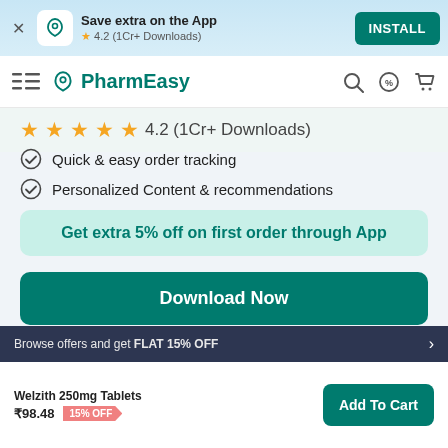Save extra on the App — 4.2 (1Cr+ Downloads) — INSTALL
PharmEasy navigation bar
4.2 (1Cr+ Downloads)
Quick & easy order tracking
Personalized Content & recommendations
Get extra 5% off on first order through App
Download Now
Browse offers and get FLAT 15% OFF
Welzith 250mg Tablets ₹98.48 15% OFF
Add To Cart